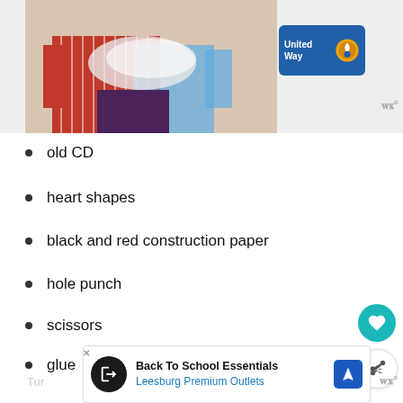[Figure (photo): A person holding laundry or fabric, with United Way logo badge visible in upper right area of photo region]
old CD
heart shapes
black and red construction paper
hole punch
scissors
glue
First, glue a large heart over the center CD hole.
[Figure (infographic): Advertisement banner for Back To School Essentials at Leesburg Premium Outlets]